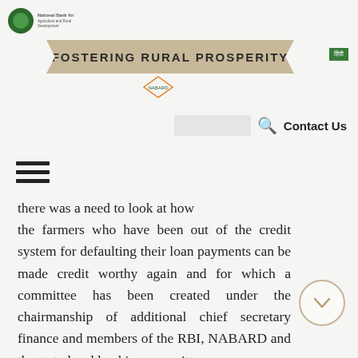FOSTERING RURAL PROSPERITY
there was a need to look at how the farmers who have been out of the credit system for defaulting their loan payments can be made credit worthy again and for which a committee has been created under the chairmanship of additional chief secretary finance and members of the RBI, NABARD and the state level banking committee.